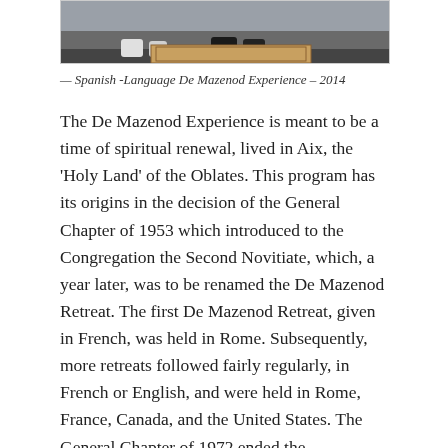[Figure (photo): Partial view of a photo showing people outdoors, cropped at the top of the page]
— Spanish -Language De Mazenod Experience – 2014
The De Mazenod Experience is meant to be a time of spiritual renewal, lived in Aix, the 'Holy Land' of the Oblates. This program has its origins in the decision of the General Chapter of 1953 which introduced to the Congregation the Second Novitiate, which, a year later, was to be renamed the De Mazenod Retreat. The first De Mazenod Retreat, given in French, was held in Rome. Subsequently, more retreats followed fairly regularly, in French or English, and were held in Rome, France, Canada, and the United States. The General Chapter of 1972 ended the organization of the Retreat at the Congregational level and recommended that Regions should establish their own sessions for spiritual and pastoral renewal. Finally, the 1986 Chapter launched the program called the De Mazenod Experience and chose Aix as a favourable home for such an Experience. The eligible participants for the program are Oblates of the